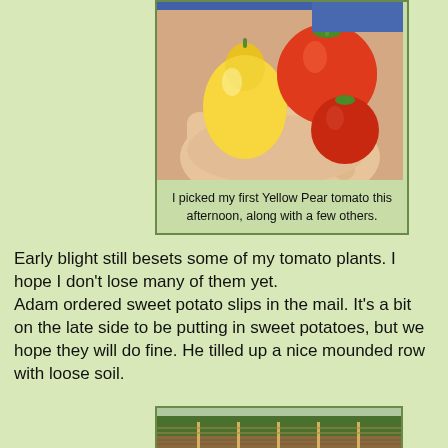[Figure (photo): Hand holding a yellow pear-shaped tomato and two red round tomatoes]
I picked my first Yellow Pear tomato this afternoon, along with a few others.
Early blight still besets some of my tomato plants. I hope I don't lose many of them yet.
Adam ordered sweet potato slips in the mail. It's a bit on the late side to be putting in sweet potatoes, but we hope they will do fine. He tilled up a nice mounded row with loose soil.
[Figure (photo): Outdoor garden scene with rows and trees in the background]